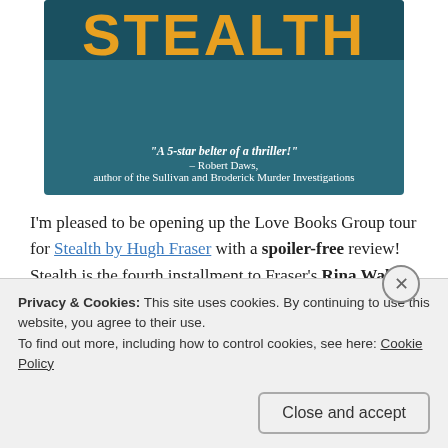[Figure (photo): Partial book cover for 'Stealth' by Hugh Fraser showing the title in large yellow letters on a dark teal background, with a quote: '"A 5-star belter of a thriller!" – Robert Daws, author of the Sullivan and Broderick Murder Investigations']
I'm pleased to be opening up the Love Books Group tour for Stealth by Hugh Fraser with a spoiler-free review! Stealth is the fourth installment to Fraser's Rina Walker crime-thriller series, but can happily be read as a stand-alone. It's available to pre-order and comes out on 4th October 2018.
Privacy & Cookies: This site uses cookies. By continuing to use this website, you agree to their use. To find out more, including how to control cookies, see here: Cookie Policy
Close and accept